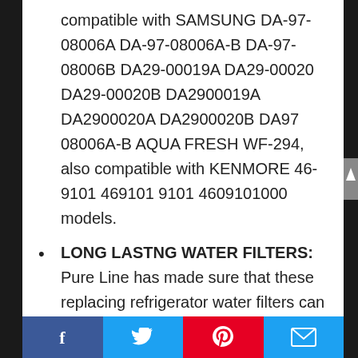compatible with SAMSUNG DA-97-08006A DA-97-08006A-B DA-97-08006B DA29-00019A DA29-00020 DA29-00020B DA2900019A DA2900020A DA2900020B DA97 08006A-B AQUA FRESH WF-294, also compatible with KENMORE 46-9101 469101 9101 4609101000 models.
LONG LASTNG WATER FILTERS: Pure Line has made sure that these replacing refrigerator water filters can last at least 6 months. In other words, each water filter can purify at least 400 gallons of water, so